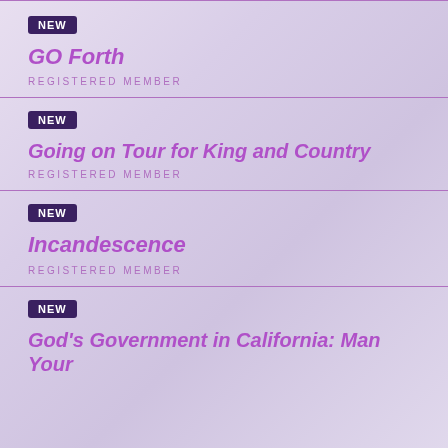NEW
GO Forth
REGISTERED MEMBER
NEW
Going on Tour for King and Country
REGISTERED MEMBER
NEW
Incandescence
REGISTERED MEMBER
NEW
God's Government in California: Man Your